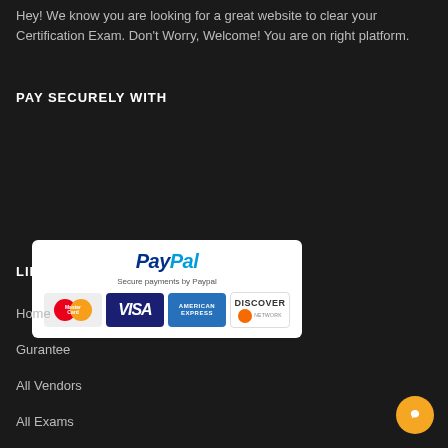Hey! We know you are looking for a great website to clear your Certification Exam. Don't Worry, Welcome! You are on right platform.
PAY SECURELY WITH
[Figure (logo): PayPal secure payment logo with MasterCard, VISA, American Express, and Discover card logos]
LINKS
Home
Gurantee
All Vendors
All Exams